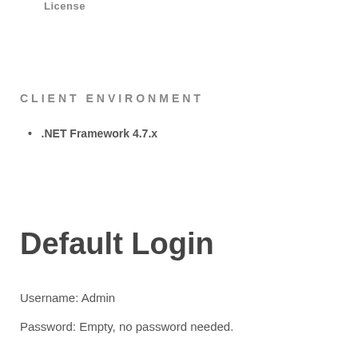License
CLIENT ENVIRONMENT
.NET Framework 4.7.x
Default Login
Username: Admin
Password: Empty, no password needed.